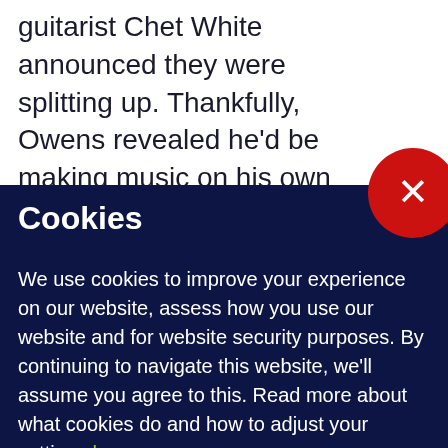guitarist Chet White announced they were splitting up. Thankfully, Owens revealed he'd be making music on his own and it is just as mesmerising as his work with Girls. Debut album Lysandre is out this month and I can't see it not making our end of
[Figure (other): Red circular close button with a white X symbol, overlapping the boundary between the article text area and the cookie consent banner]
Cookies
We use cookies to improve your experience on our website, assess how you use our website and for website security purposes. By continuing to navigate this website, we'll assume you agree to this. Read more about what cookies do and how to adjust your settings here.